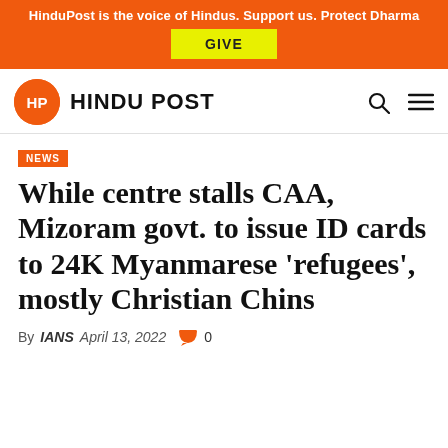HinduPost is the voice of Hindus. Support us. Protect Dharma
[Figure (logo): GIVE button on orange banner background]
[Figure (logo): HinduPost logo: orange circle with HP initials followed by HINDU POST text, with search and hamburger menu icons]
NEWS
While centre stalls CAA, Mizoram govt. to issue ID cards to 24K Myanmarese ‘refugees’, mostly Christian Chins
By IANS  April 13, 2022  0